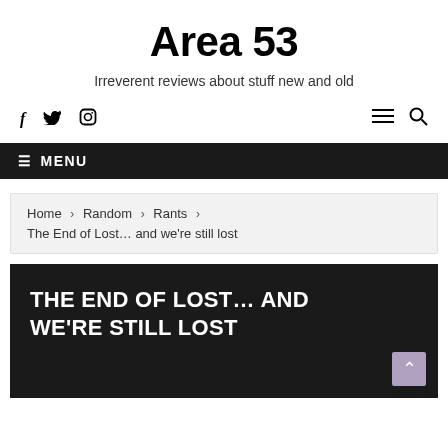Area 53
Irreverent reviews about stuff new and old
[Figure (other): Social media icons (Facebook, Twitter, Instagram) on left; hamburger menu and search icon on right]
☰ MENU
Home › Random › Rants › The End of Lost… and we're still lost
THE END OF LOST… AND WE'RE STILL LOST